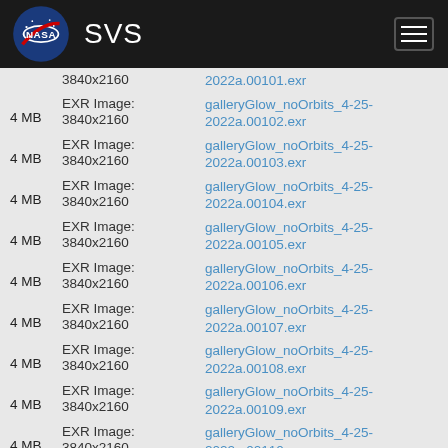NASA SVS
4 MB | EXR Image: 3840x2160 | galleryGlow_noOrbits_4-25-2022a.00101.exr
4 MB | EXR Image: 3840x2160 | galleryGlow_noOrbits_4-25-2022a.00102.exr
4 MB | EXR Image: 3840x2160 | galleryGlow_noOrbits_4-25-2022a.00103.exr
4 MB | EXR Image: 3840x2160 | galleryGlow_noOrbits_4-25-2022a.00104.exr
4 MB | EXR Image: 3840x2160 | galleryGlow_noOrbits_4-25-2022a.00105.exr
4 MB | EXR Image: 3840x2160 | galleryGlow_noOrbits_4-25-2022a.00106.exr
4 MB | EXR Image: 3840x2160 | galleryGlow_noOrbits_4-25-2022a.00107.exr
4 MB | EXR Image: 3840x2160 | galleryGlow_noOrbits_4-25-2022a.00108.exr
4 MB | EXR Image: 3840x2160 | galleryGlow_noOrbits_4-25-2022a.00109.exr
4 MB | EXR Image: 3840x2160 | galleryGlow_noOrbits_4-25-2022a.00110.exr
EXR Image: galleryGlow_noOrbits_4-25-...